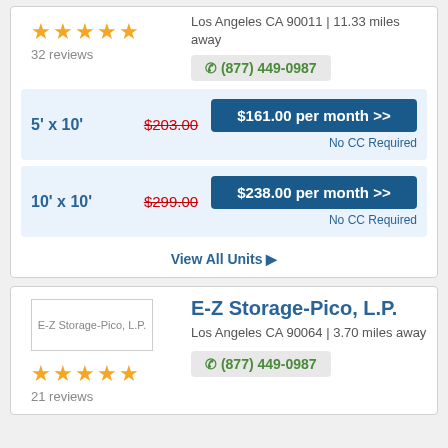32 reviews
Los Angeles CA 90011 | 11.33 miles away
(877) 449-0987
| Unit Size | Original Price | Sale Price | Note |
| --- | --- | --- | --- |
| 5' x 10' | $203.00 | $161.00 per month >> | No CC Required |
| 10' x 10' | $299.00 | $238.00 per month >> | No CC Required |
View All Units ❯
E-Z Storage-Pico, L.P.
Los Angeles CA 90064 | 3.70 miles away
(877) 449-0987
21 reviews